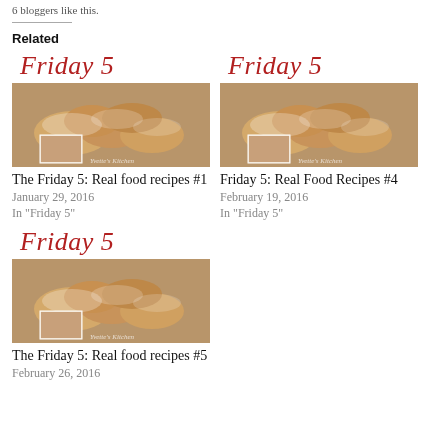6 bloggers like this.
Related
[Figure (photo): Friday 5 card with scones photo - The Friday 5: Real food recipes #1]
The Friday 5: Real food recipes #1
January 29, 2016
In "Friday 5"
[Figure (photo): Friday 5 card with scones photo - Friday 5: Real Food Recipes #4]
Friday 5: Real Food Recipes #4
February 19, 2016
In "Friday 5"
[Figure (photo): Friday 5 card with scones photo - The Friday 5: Real food recipes #5]
The Friday 5: Real food recipes #5
February 26, 2016